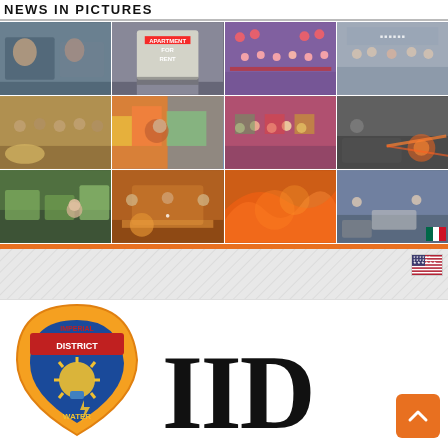NEWS IN PICTURES
[Figure (photo): Grid of 12 news photos arranged in 3 rows of 4: medical/office scene, apartment for rent sign, ribbon cutting ceremony, outdoor event; food/community gathering, artist with colorful mural, group of women in colorful dresses, vehicle fire; grocery produce with woman, panel discussion with speakers, fire/flames crowd scene, law enforcement officer with woman in safety vest. Mexican flag visible in bottom right corner. US flag icon below.]
[Figure (logo): IID (Imperial Irrigation District) logo with circular emblem showing IMPERIAL DISTRICT WATER text and imagery, alongside large bold IID lettering]